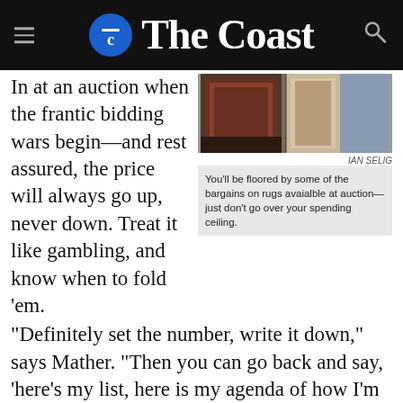The Coast
In at an auction when the frantic bidding wars begin—and rest assured, the price will always go up, never down. Treat it like gambling, and know when to fold 'em. "Definitely set the number, write it down," says Mather. "Then you can go back and say, 'here's my list, here is my agenda of how I'm going to bid on this.'"
[Figure (photo): Photo of rugs at an auction]
IAN SELIG
You'll be floored by some of the bargains on rugs avaialble at auction—just don't go over your spending ceiling.
Know the costs